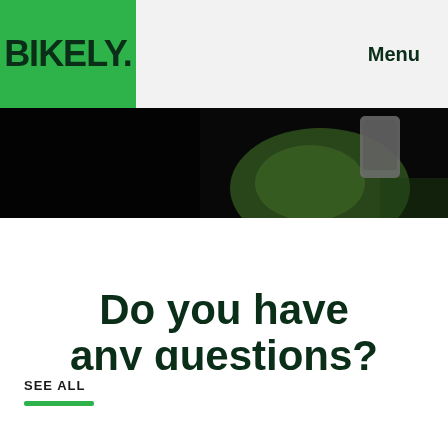[Figure (logo): BIKELY logo in white text on green background square]
Menu
[Figure (photo): Dark photo of a person in a green jacket holding a phone, close-up shot]
Do you have any questions?
SEE ALL